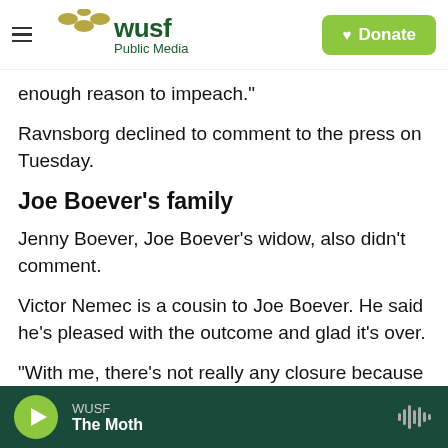WUSF Public Media | Donate
enough reason to impeach."
Ravnsborg declined to comment to the press on Tuesday.
Joe Boever's family
Jenny Boever, Joe Boever's widow, also didn't comment.
Victor Nemec is a cousin to Joe Boever. He said he's pleased with the outcome and glad it's over.
"With me, there's not really any closure because my
WUSF | The Moth